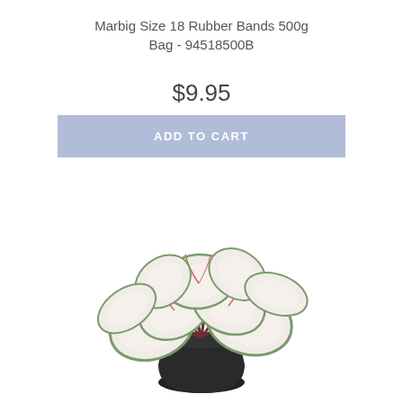Marbig Size 18 Rubber Bands 500g Bag - 94518500B
$9.95
ADD TO CART
[Figure (photo): Artificial caladium plant with white, pink, and green patterned leaves in a black pot]